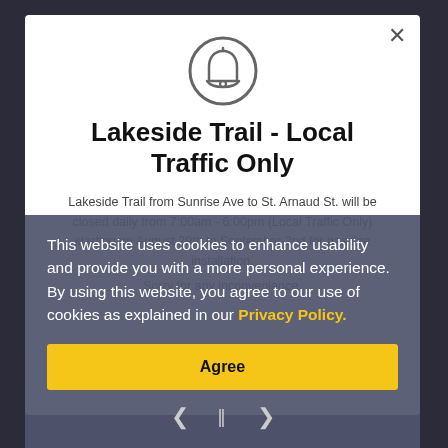[Figure (illustration): Bell icon inside a circle, gray outline]
Lakeside Trail - Local Traffic Only
Lakeside Trail from Sunrise Ave to St. Arnaud St. will be closed daily from 7:00am - 6:00pm (Local Traffic Only) starting on August 29th to September 2nd for gas line installation.
Sorry for any inconvenience.
This website uses cookies to enhance usability and provide you with a more personal experience. By using this website, you agree to our use of cookies as explained in our Privacy Policy.
Agree